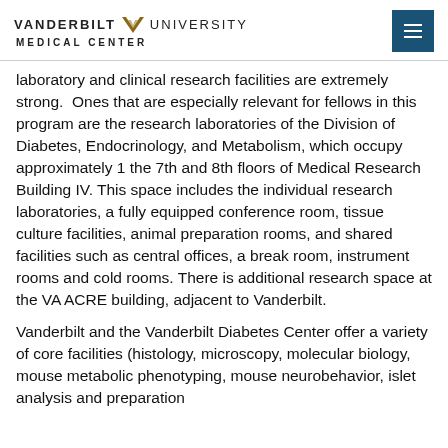VANDERBILT V UNIVERSITY MEDICAL CENTER
laboratory and clinical research facilities are extremely strong.  Ones that are especially relevant for fellows in this program are the research laboratories of the Division of Diabetes, Endocrinology, and Metabolism, which occupy approximately 1 the 7th and 8th floors of Medical Research Building IV. This space includes the individual research laboratories, a fully equipped conference room, tissue culture facilities, animal preparation rooms, and shared facilities such as central offices, a break room, instrument rooms and cold rooms. There is additional research space at the VA ACRE building, adjacent to Vanderbilt.
Vanderbilt and the Vanderbilt Diabetes Center offer a variety of core facilities (histology, microscopy, molecular biology, mouse metabolic phenotyping, mouse neurobehavior, islet analysis and preparation